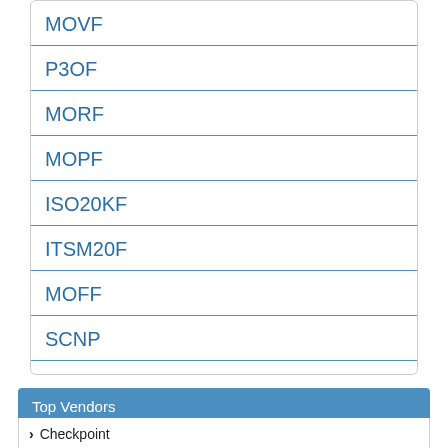MOVF
P3OF
MORF
MOPF
ISO20KF
ITSM20F
MOFF
SCNP
Top Vendors
Checkpoint